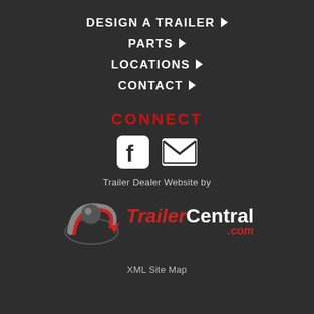DESIGN A TRAILER ❯
PARTS ❯
LOCATIONS ❯
CONTACT ❯
CONNECT
[Figure (infographic): Facebook icon and email/envelope icon side by side in white on dark background]
Trailer Dealer Website by
[Figure (logo): TrailerCentral.com logo with arrow/wheel graphic. 'Trailer' in red italic, 'Central' in white bold, '.com' in red italic.]
XML Site Map